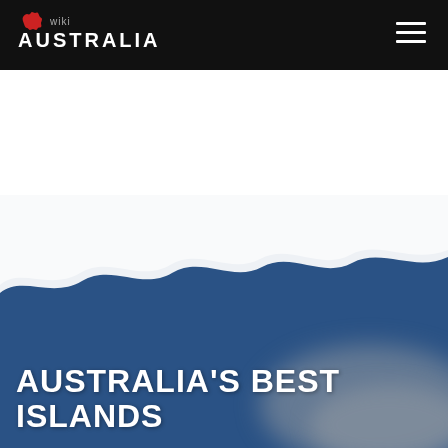wiki AUSTRALIA
[Figure (illustration): Ocean wave illustration with multiple layers of blue and light blue/grey waves on a deep blue background, with a blurred grey landmass visible in the lower right corner]
AUSTRALIA'S BEST ISLANDS